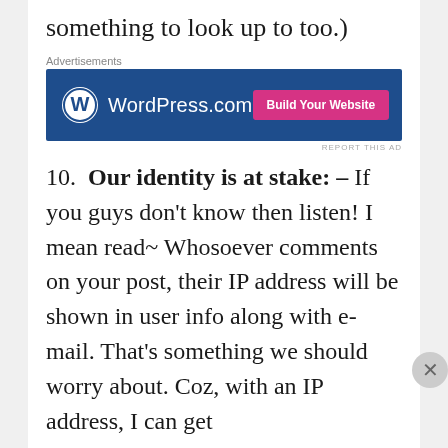something to look up to too.)
[Figure (screenshot): WordPress.com advertisement banner with dark blue background, WordPress logo on left, and pink 'Build Your Website' button on right]
10. Our identity is at stake: – If you guys don't know then listen! I mean read~ Whosoever comments on your post, their IP address will be shown in user info along with e-mail. That's something we should worry about. Coz, with an IP address, I can get
[Figure (screenshot): DuckDuckGo advertisement banner with orange left panel saying 'Search, browse, and email with more privacy. All in One Free App' and dark right panel with DuckDuckGo logo]